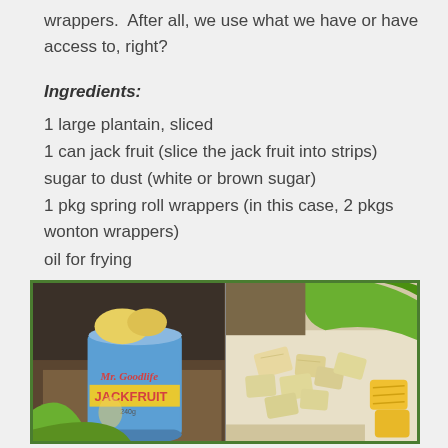wrappers.  After all, we use what we have or have access to, right?
Ingredients:
1 large plantain, sliced
1 can jack fruit (slice the jack fruit into strips)
sugar to dust (white or brown sugar)
1 pkg spring roll wrappers (in this case, 2 pkgs wonton wrappers)
oil for frying
[Figure (photo): Two side-by-side photos: left shows a can of Mr. Goodlife Jackfruit with yellow jackfruit pieces visible at the top, right shows sliced plantain pieces on a surface with a green plantain and yellow jackfruit pieces visible.]